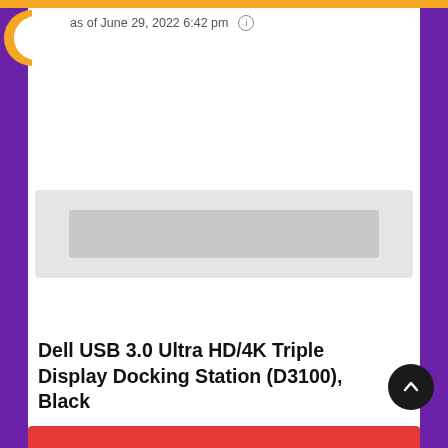as of June 29, 2022 6:42 pm (i)
[Figure (illustration): Blurred/placeholder product image area with light gray background]
Dell USB 3.0 Ultra HD/4K Triple Display Docking Station (D3100), Black
[Figure (illustration): Red button bar at the bottom of the page, partially visible]